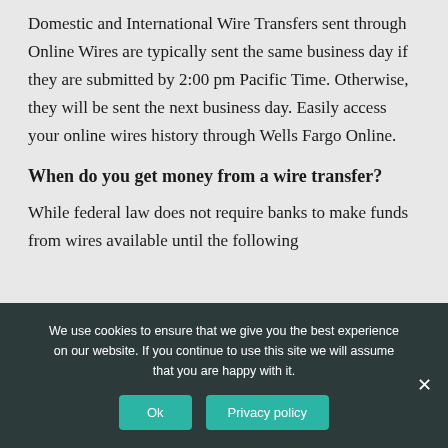Domestic and International Wire Transfers sent through Online Wires are typically sent the same business day if they are submitted by 2:00 pm Pacific Time. Otherwise, they will be sent the next business day. Easily access your online wires history through Wells Fargo Online.
When do you get money from a wire transfer?
While federal law does not require banks to make funds from wires available until the following
We use cookies to ensure that we give you the best experience on our website. If you continue to use this site we will assume that you are happy with it.